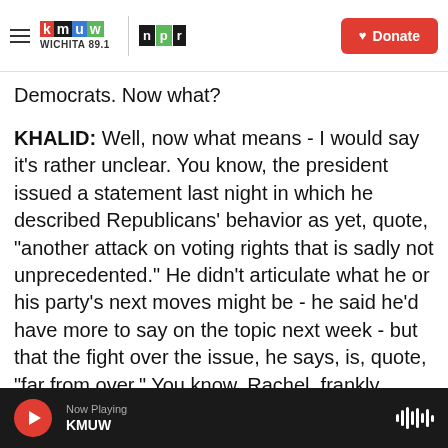KMUW WICHITA 89.1 | NPR | Donate
Democrats. Now what?
KHALID: Well, now what means - I would say it's rather unclear. You know, the president issued a statement last night in which he described Republicans' behavior as yet, quote, "another attack on voting rights that is sadly not unprecedented." He didn't articulate what he or his party's next moves might be - he said he'd have more to say on the topic next week - but that the fight over the issue, he says, is, quote, "far from over." You know, Rachel, frankly, some progressives do feel like the president has not actually used the
Now Playing KMUW